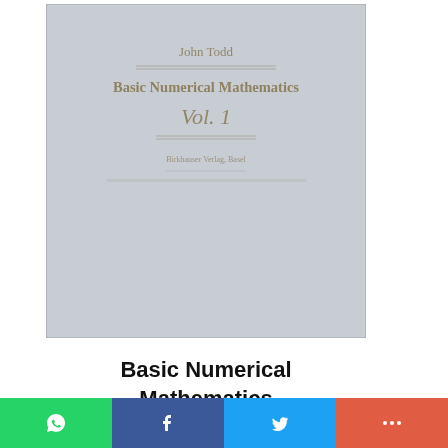[Figure (photo): Photo of a book cover for 'Basic Numerical Mathematics' by John Todd, showing a plain light gray/blue cover with faint text including the author name, title, 'Vol. 1', and publisher information.]
Basic Numerical Mathematics
By: J. Todd